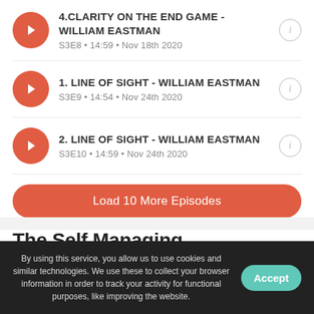4.CLARITY ON THE END GAME - WILLIAM EASTMAN
S3E8 • 14:59 • Nov 18th 2020
1. LINE OF SIGHT - WILLIAM EASTMAN
S3E9 • 14:54 • Nov 24th 2020
2. LINE OF SIGHT - WILLIAM EASTMAN
S3E10 • 14:59 • Nov 24th 2020
Load 10 More Episodes
The Self Managing Organization
By using this service, you allow us to use cookies and similar technologies. We use these to collect your browser information in order to track your activity for functional purposes, like improving the website.